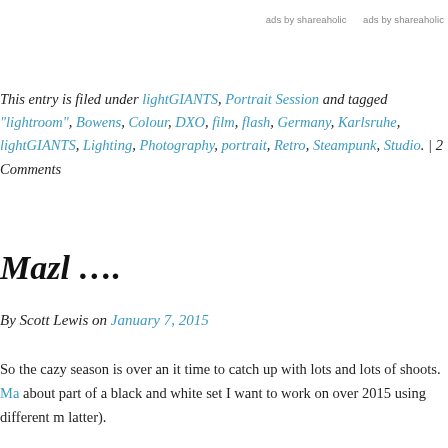ads by shareaholic     ads by shareaholic
This entry is filed under lightGIANTS, Portrait Session and tagged "lightroom", Bowens, Colour, DXO, film, flash, Germany, Karlsruhe, lightGIANTS, Lighting, Photography, portrait, Retro, Steampunk, Studio. | 2 Comments
Mazl ….
By Scott Lewis on January 7, 2015
So the cazy season is over an it time to catch up with lots and lots of shoots. Ma about part of a black and white set I want to work on over 2015 using different m latter).